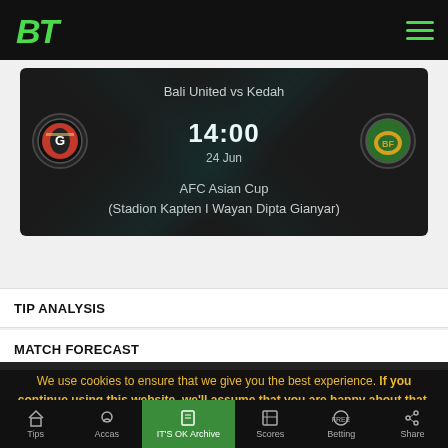BT (logo) with hamburger menu
[Figure (screenshot): Match card showing Bali United vs Kedah, time 14:00, date 24 Jun, competition AFC Asian Cup at Stadion Kapten I Wayan Dipta Gianyar, with team logos]
TIP ANALYSIS
MATCH FORECAST
We use cookies to ensure that we give you the best experience. If you continue using this website, we'll assume that you are happy about that.
Tips | Accas | IT'S OK Archive | Scores | Betting | Share